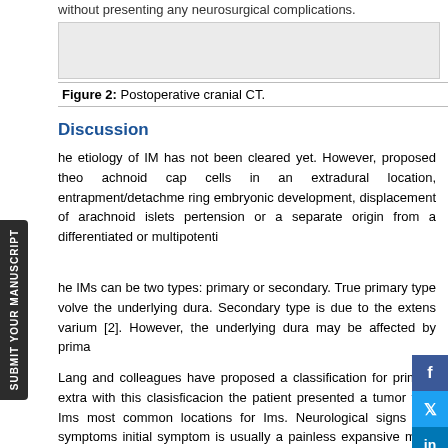without presenting any neurosurgical complications.
[Figure (photo): Postoperative cranial CT image (figure box placeholder)]
Figure 2: Postoperative cranial CT.
Discussion
he etiology of IM has not been cleared yet. However, proposed theo achnoid cap cells in an extradural location, entrapment/detachme ring embryonic development, displacement of arachnoid islets pertension or a separate origin from a differentiated or multipotenti
he IMs can be two types: primary or secondary. True primary type volve the underlying dura. Secondary type is due to the extens varium [2]. However, the underlying dura may be affected by prima
Lang and colleagues have proposed a classification for primary extra with this clasisficacion the patient presented a tumor type Ims most common locations for Ims. Neurological signs and symptoms initial symptom is usually a painless expansive mass with nor are dependent on tumor location, size, and involvement of the neighbo